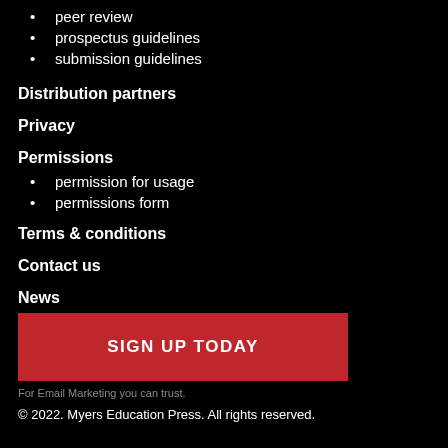peer review
prospectus guidelines
submission guidelines
Distribution partners
Privacy
Permissions
permission for usage
permissions form
Terms & conditions
Contact us
News
[Figure (other): Red button with text SIGN UP TODAY]
For Email Marketing you can trust.
© 2022. Myers Education Press. All rights reserved.